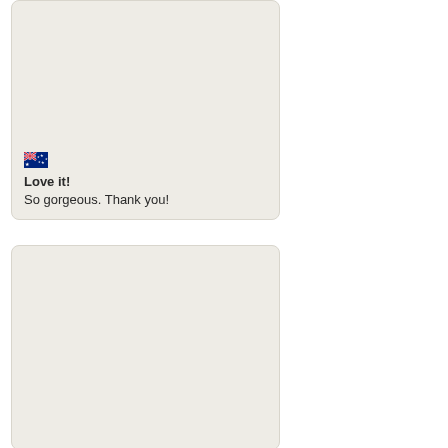[Figure (photo): A card/review widget with a light beige background showing an Australian flag emoji and a short review text at the bottom. The upper portion of the card is an image placeholder area.]
Love it!
So gorgeous. Thank you!
[Figure (photo): A second card/review widget with a light beige background. The card appears to be mostly an image placeholder area with no visible text.]